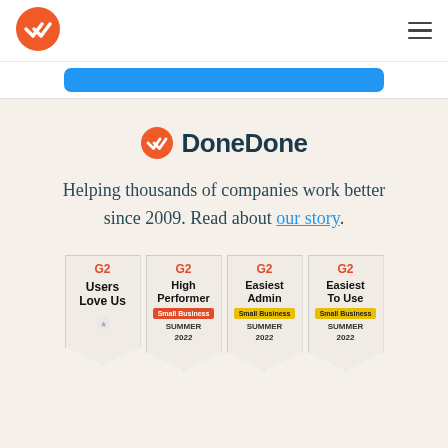[Figure (logo): DoneDone orange circle logo with white double checkmark in navigation bar]
[Figure (screenshot): Blue call-to-action button strip]
[Figure (logo): DoneDone brand logo with orange circle icon and bold DoneDone text]
Helping thousands of companies work better since 2009. Read about our story.
[Figure (infographic): Four G2 badges: Users Love Us, High Performer Small Business Summer 2022, Easiest Admin Small Business Summer 2022, Easiest To Use Small Business Summer 2022]